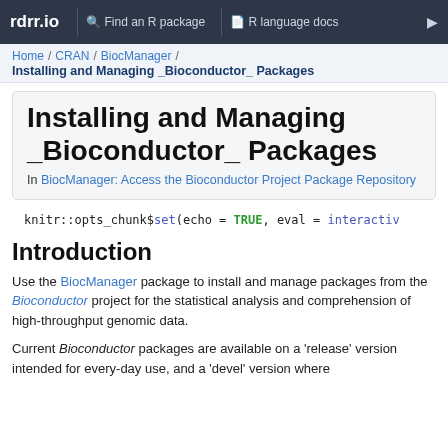rdrr.io  Find an R package  R language docs
Home / CRAN / BiocManager / Installing and Managing _Bioconductor_ Packages
Installing and Managing _Bioconductor_ Packages
In BiocManager: Access the Bioconductor Project Package Repository
knitr::opts_chunk$set(echo = TRUE, eval = interactiv
Introduction
Use the BiocManager package to install and manage packages from the Bioconductor project for the statistical analysis and comprehension of high-throughput genomic data.
Current Bioconductor packages are available on a 'release' version intended for every-day use, and a 'devel' version where